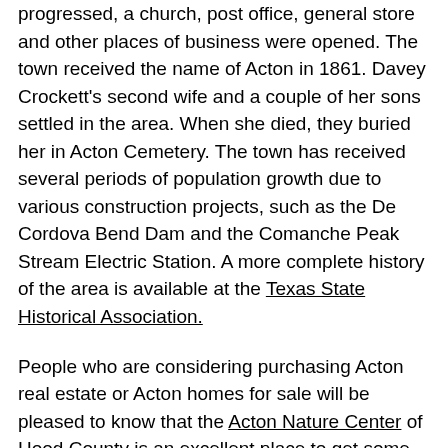progressed, a church, post office, general store and other places of business were opened. The town received the name of Acton in 1861. Davey Crockett's second wife and a couple of her sons settled in the area. When she died, they buried her in Acton Cemetery. The town has received several periods of population growth due to various construction projects, such as the De Cordova Bend Dam and the Comanche Peak Stream Electric Station. A more complete history of the area is available at the Texas State Historical Association.
People who are considering purchasing Acton real estate or Acton homes for sale will be pleased to know that the Acton Nature Center of Hood County is an excellent place to get some exercise and enjoy the outdoors. This park is open each day of the week, and admission is always free. There are seven miles worth of trails for hikers and bikers. Besides this, there is plenty of wildlife in the area.
In this community, where there are homes for sale in Acton and real estate in Acton that can be purchased, there are a number of activities and attractions in and around the surrounding area. A great place for family fun and enjoyment is Fall Creek Farms. The...